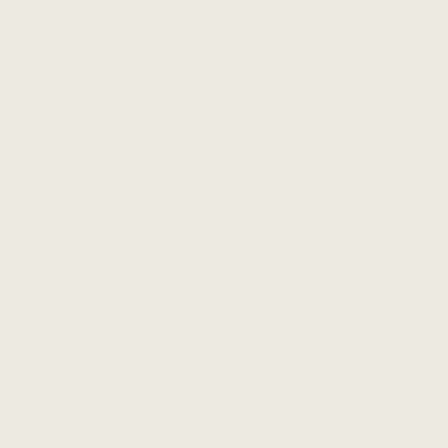on the handicap points and the perspective of the stronger player is assumed throughout. As White gets the opportunity to play first in the empty areas, in handicap games, josekis take on considerably different meaning, accounting for the authors' intention to structure the volumes based on White's first move.
This first volume deals with a White approach to the 4-4 point and a Black small knight's approach. Each of the chapters covers a game, describing and analysing the josekis and then a series of 'Black to play' positions in the middle game. The josekis are predominantly of the internecine variety with White usually using a double pincer to prevent Black from settling easily in the vicinity of his handicap stone, and then Black responding just as aggressively. In common with other books on handicap Go, Black is encouraged to go for a fast start which, in this case, means that the josekis are pretty complicated and this book is best suited to stronger players in the 4k – 4d range.
[Figure (photo): Red background image visible at the bottom right corner of the page]